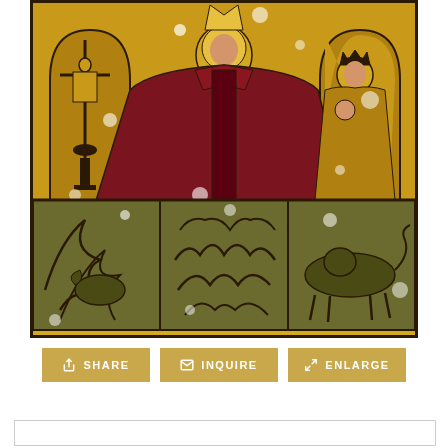[Figure (photo): A medieval religious icon or painted panel showing a bishop or saint figure in dark red/maroon robes against a golden yellow background, with a crucifix on the left side and a smaller figure (possibly Madonna and Child) on the right. The lower portion shows animals or creatures in a darker, weathered panel section. The painting appears aged with visible damage and paint loss.]
SHARE
INQUIRE
ENLARGE